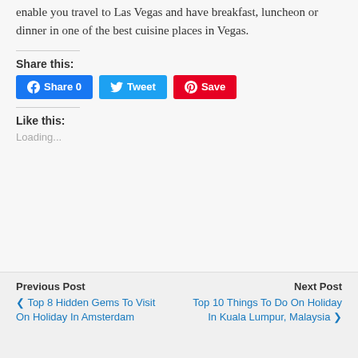enable you travel to Las Vegas and have breakfast, luncheon or dinner in one of the best cuisine places in Vegas.
Share this:
[Figure (other): Social share buttons: Facebook Share 0, Twitter Tweet, Pinterest Save]
Like this:
Loading...
Previous Post
❮ Top 8 Hidden Gems To Visit On Holiday In Amsterdam
Next Post
Top 10 Things To Do On Holiday In Kuala Lumpur, Malaysia ❯